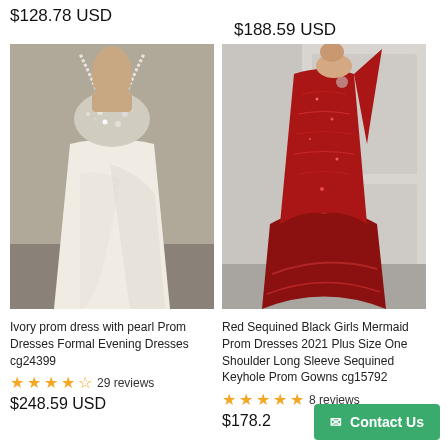$128.78 USD
$188.59 USD
[Figure (photo): Ivory/white satin prom dress with pearl and crystal beaded bodice, spaghetti straps, draped skirt]
[Figure (photo): Red sequined mermaid prom dress with one shoulder long sleeve, dramatic train]
Ivory prom dress with pearl Prom Dresses Formal Evening Dresses cg24399
Red Sequined Black Girls Mermaid Prom Dresses 2021 Plus Size One Shoulder Long Sleeve Sequined Keyhole Prom Gowns cg15792
29 reviews
8 reviews
$248.59 USD
$178.2